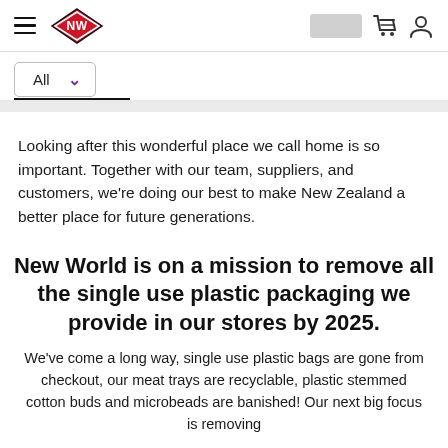NW (New World) website header with hamburger menu, NW logo, search box, cart icon, and user icon
All (dropdown)
Looking after this wonderful place we call home is so important. Together with our team, suppliers, and customers, we're doing our best to make New Zealand a better place for future generations.
New World is on a mission to remove all the single use plastic packaging we provide in our stores by 2025.
We've come a long way, single use plastic bags are gone from checkout, our meat trays are recyclable, plastic stemmed cotton buds and microbeads are banished! Our next big focus is removing